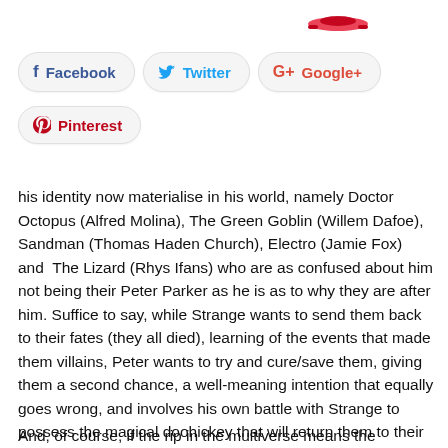[Figure (logo): Partial red car logo/graphic at top right]
Facebook
Twitter
Google+
Pinterest
his identity now materialise in his world, namely Doctor Octopus (Alfred Molina), The Green Goblin (Willem Dafoe), Sandman (Thomas Haden Church), Electro (Jamie Fox) and  The Lizard (Rhys Ifans) who are as confused about him not being their Peter Parker as he is as to why they are after him. Suffice to say, while Strange wants to send them back to their fates (they all died), learning of the events that made them villains, Peter wants to try and cure/save them, giving them a second chance, a well-meaning intention that equally goes wrong, and involves his own battle with Strange to possess the magical doohickey that will return them to their own dimensions.
And, of course, if the rip in the multiverse means the character's